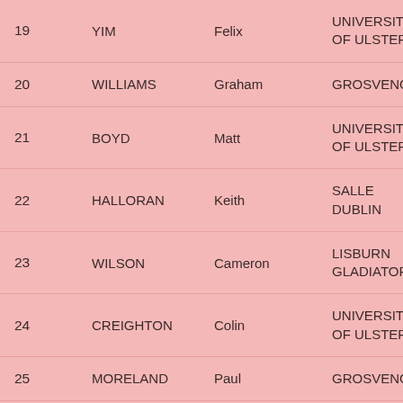| 19 | YIM | Felix | UNIVERSITY OF ULSTER |
| 20 | WILLIAMS | Graham | GROSVENOR |
| 21 | BOYD | Matt | UNIVERSITY OF ULSTER |
| 22 | HALLORAN | Keith | SALLE DUBLIN |
| 23 | WILSON | Cameron | LISBURN GLADIATORS |
| 24 | CREIGHTON | Colin | UNIVERSITY OF ULSTER |
| 25 | MORELAND | Paul | GROSVENOR |
| 26 |  |  | LISBURN |